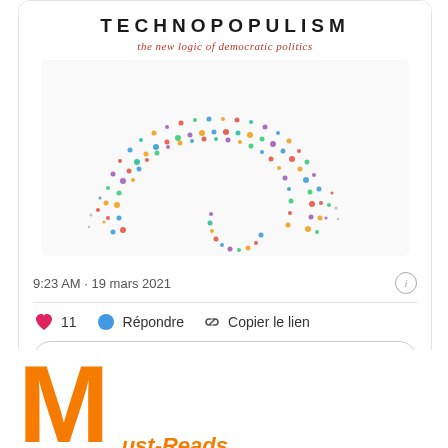TECHNOPOPULISM
the new logic of democratic politics
[Figure (photo): Aerial view of a large crowd of people arranged in an arc/semicircle shape forming a question-mark-like figure against a white background, representing the book cover image of Technopopulism.]
9:23 AM · 19 mars 2021
11   Répondre   Copier le lien
Découvrez ce qui se passe sur Twitter.
Must-Reads